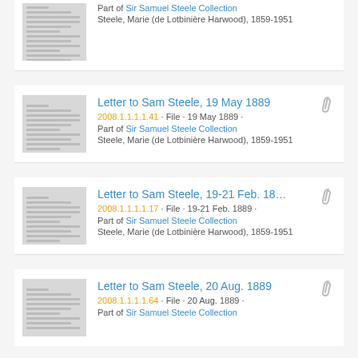Part of Sir Samuel Steele Collection
Steele, Marie (de Lotbiniere Harwood), 1859-1951
Letter to Sam Steele, 19 May 1889
2008.1.1.1.1.41 · File · 19 May 1889 ·
Part of Sir Samuel Steele Collection
Steele, Marie (de Lotbiniere Harwood), 1859-1951
Letter to Sam Steele, 19-21 Feb. 18...
2008.1.1.1.1.17 · File · 19-21 Feb. 1889 ·
Part of Sir Samuel Steele Collection
Steele, Marie (de Lotbiniere Harwood), 1859-1951
Letter to Sam Steele, 20 Aug. 1889
2008.1.1.1.1.64 · File · 20 Aug. 1889 ·
Part of Sir Samuel Steele Collection